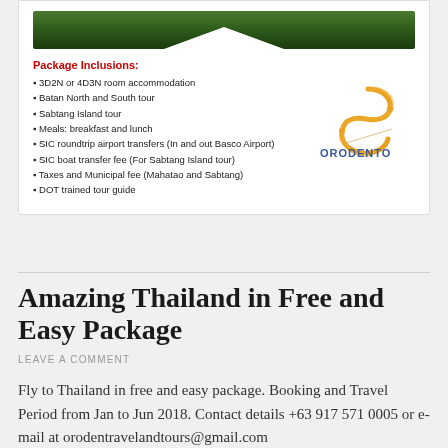[Figure (photo): Green landscape/grass photo banner at top of card]
Package Inclusions:
3D2N or 4D3N room accommodation
Batan North and South tour
Sabtang Island tour
Meals: breakfast and lunch
SIC roundtrip airport transfers (In and out Basco Airport)
SIC boat transfer fee (For Sabtang Island tour)
Taxes and Municipal fee (Mahatao and Sabtang)
DOT trained tour guide
[Figure (logo): Orodento Travel and Tours logo with golden swirl and blue text]
Amazing Thailand in Free and Easy Package
LEAVE A COMMENT
Fly to Thailand in free and easy package. Booking and Travel Period from Jan to Jun 2018. Contact details +63 917 571 0005 or e-mail at orodentravelandtours@gmail.com